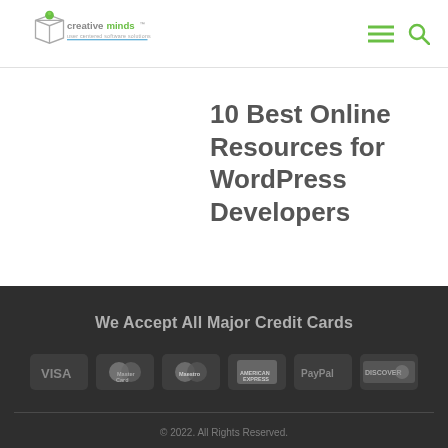CreativeMinds — User Centered Software Solutions
10 Best Online Resources for WordPress Developers
We Accept All Major Credit Cards
[Figure (logo): Payment method logos: VISA, MasterCard, Maestro, American Express, PayPal, Discover]
© 2022. All Rights Reserved.
PRIVACY